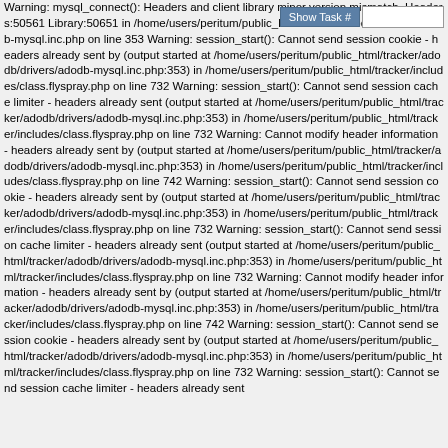Warning: mysql_connect(): Headers and client library minor version mismatch. Headers:50561 Library:50651 in /home/users/peritum/public_html/tracker/adodb/drivers/adodb-mysql.inc.php on line 353 Warning: session_start(): Cannot send session cookie - headers already sent by (output started at /home/users/peritum/public_html/tracker/adodb/drivers/adodb-mysql.inc.php:353) in /home/users/peritum/public_html/tracker/includes/class.flyspray.php on line 732 Warning: session_start(): Cannot send session cache limiter - headers already sent (output started at /home/users/peritum/public_html/tracker/adodb/drivers/adodb-mysql.inc.php:353) in /home/users/peritum/public_html/tracker/includes/class.flyspray.php on line 732 Warning: Cannot modify header information - headers already sent by (output started at /home/users/peritum/public_html/tracker/adodb/drivers/adodb-mysql.inc.php:353) in /home/users/peritum/public_html/tracker/includes/class.flyspray.php on line 742 Warning: session_start(): Cannot send session cookie - headers already sent by (output started at /home/users/peritum/public_html/tracker/adodb/drivers/adodb-mysql.inc.php:353) in /home/users/peritum/public_html/tracker/includes/class.flyspray.php on line 732 Warning: session_start(): Cannot send session cache limiter - headers already sent (output started at /home/users/peritum/public_html/tracker/adodb/drivers/adodb-mysql.inc.php:353) in /home/users/peritum/public_html/tracker/includes/class.flyspray.php on line 732 Warning: Cannot modify header information - headers already sent by (output started at /home/users/peritum/public_html/tracker/adodb/drivers/adodb-mysql.inc.php:353) in /home/users/peritum/public_html/tracker/includes/class.flyspray.php on line 742 Warning: session_start(): Cannot send session cookie - headers already sent by (output started at /home/users/peritum/public_html/tracker/adodb/drivers/adodb-mysql.inc.php:353) in /home/users/peritum/public_html/tracker/includes/class.flyspray.php on line 732 Warning: session_start(): Cannot send session cache limiter - headers already sent